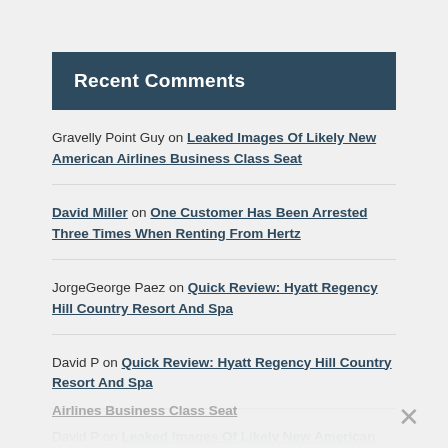Recent Comments
Gravelly Point Guy on Leaked Images Of Likely New American Airlines Business Class Seat
David Miller on One Customer Has Been Arrested Three Times When Renting From Hertz
JorgeGeorge Paez on Quick Review: Hyatt Regency Hill Country Resort And Spa
David P on Quick Review: Hyatt Regency Hill Country Resort And Spa
David P on Leaked Images Of Likely New American Airlines Business Class Seat